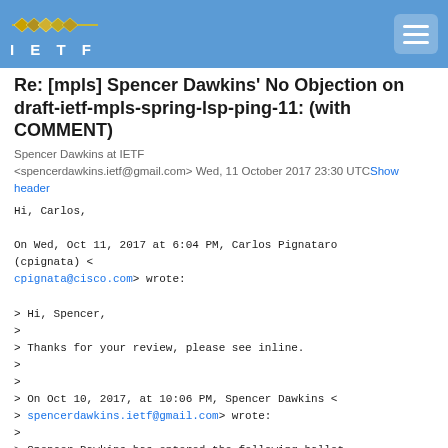IETF
Re: [mpls] Spencer Dawkins' No Objection on draft-ietf-mpls-spring-lsp-ping-11: (with COMMENT)
Spencer Dawkins at IETF <spencerdawkins.ietf@gmail.com> Wed, 11 October 2017 23:30 UTC Show header
Hi, Carlos,

On Wed, Oct 11, 2017 at 6:04 PM, Carlos Pignataro (cpignata) <
cpignata@cisco.com> wrote:

> Hi, Spencer,
>
> Thanks for your review, please see inline.
>
>
> On Oct 10, 2017, at 10:06 PM, Spencer Dawkins <
> spencerdawkins.ietf@gmail.com> wrote:
>
> Spencer Dawkins has entered the following ballot